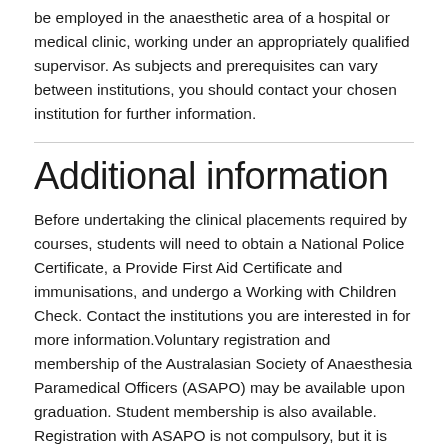be employed in the anaesthetic area of a hospital or medical clinic, working under an appropriately qualified supervisor. As subjects and prerequisites can vary between institutions, you should contact your chosen institution for further information.
Additional information
Before undertaking the clinical placements required by courses, students will need to obtain a National Police Certificate, a Provide First Aid Certificate and immunisations, and undergo a Working with Children Check. Contact the institutions you are interested in for more information.Voluntary registration and membership of the Australasian Society of Anaesthesia Paramedical Officers (ASAPO) may be available upon graduation. Student membership is also available. Registration with ASAPO is not compulsory, but it is strongly recommended as many employers require anaesthetic technicians to be registered